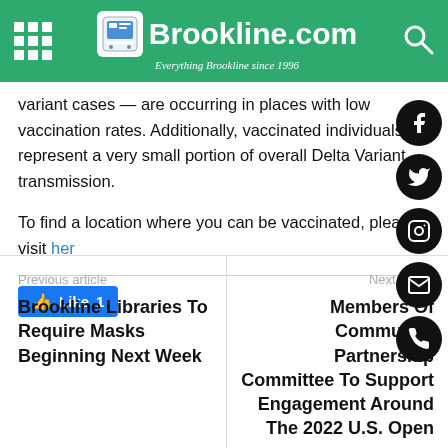Brookline.com — Everything Brookline since 1996
variant cases — are occurring in places with low vaccination rates. Additionally, vaccinated individuals represent a very small portion of overall Delta Variant transmission.
To find a location where you can be vaccinated, please visit here
[Figure (screenshot): Facebook Like button showing thumbs up icon and count of 1]
[Figure (infographic): Social media icons on right side: Facebook, Twitter, Instagram, Email, Phone]
Previous article
Brookline Libraries To Require Masks Beginning Next Week
Next article
Members Of Community Partnership Committee To Support Engagement Around The 2022 U.S. Open